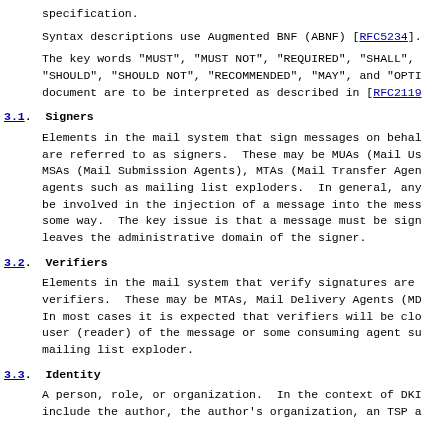specification.
Syntax descriptions use Augmented BNF (ABNF) [RFC5234].
The key words "MUST", "MUST NOT", "REQUIRED", "SHALL", "SHOULD", "SHOULD NOT", "RECOMMENDED", "MAY", and "OPTI... document are to be interpreted as described in [RFC2119].
3.1. Signers
Elements in the mail system that sign messages on behalf... are referred to as signers. These may be MUAs (Mail Us... MSAs (Mail Submission Agents), MTAs (Mail Transfer Agen... agents such as mailing list exploders. In general, any... be involved in the injection of a message into the mess... some way. The key issue is that a message must be sign... leaves the administrative domain of the signer.
3.2. Verifiers
Elements in the mail system that verify signatures are... verifiers. These may be MTAs, Mail Delivery Agents (MD... In most cases it is expected that verifiers will be clo... user (reader) of the message or some consuming agent su... mailing list exploder.
3.3. Identity
A person, role, or organization. In the context of DKI... include the author, the author's organization, an TSP a...